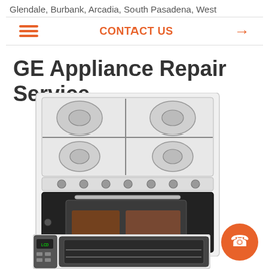Glendale, Burbank, Arcadia, South Pasadena, West
CONTACT US →
GE Appliance Repair Service
[Figure (photo): White freestanding gas range/oven appliance with 5 burners on top and a black oven door with glass window]
[Figure (photo): Professional convection oven appliance, partially visible at bottom of page]
[Figure (illustration): Orange circular call/phone button in bottom right corner]